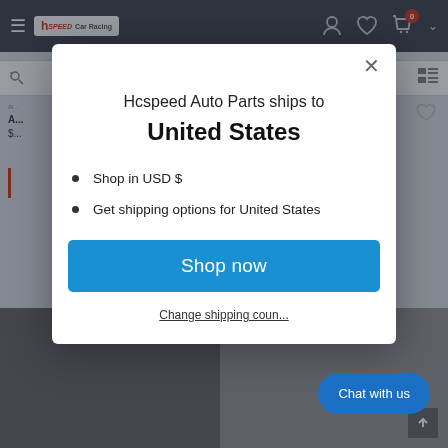[Figure (screenshot): Website header navigation bar with Hcspeed Car Racing logo, hamburger menu, user icons, heart icon, shopping cart with 0 badge, and dropdown arrow on dark navy background]
[Figure (screenshot): Background e-commerce product listing page partially visible behind modal overlay]
Hcspeed Auto Parts ships to United States
United States
Shop in USD $
Get shipping options for United States
Shop now
Change shipping country
Chat with us